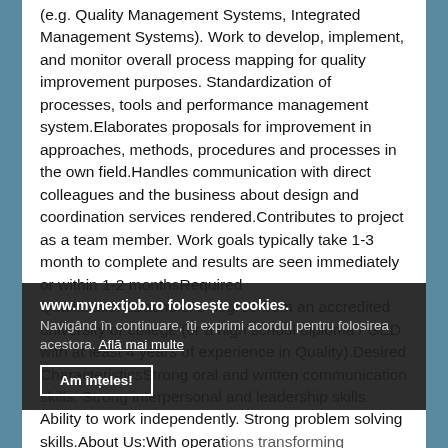(e.g. Quality Management Systems, Integrated Management Systems). Work to develop, implement, and monitor overall process mapping for quality improvement purposes. Standardization of processes, tools and performance management system.Elaborates proposals for improvement in approaches, methods, procedures and processes in the own field.Handles communication with direct colleagues and the business about design and coordination services rendered.Contributes to project as a team member. Work goals typically take 1-3 month to complete and results are seen immediately or within 1-2 monthsRequired QualificationsBachelor's degree from an accredited university or college (or a high school diploma / GED with at least 4 years of experience in Quality).Desired CharacteristicsStrong oral and written communication skills. Strong interpersonal and leadership skills. Ability to work independently. Strong problem solving skills.About Us:With operations transforming industries, we provide better solutions for our customers and are helping people. As a leading partner to that industry, we're committed to achieving net-zero carbon emissions by 2050 and we're always looking for the right people to help us get there. People who are as passionate as we are about making energy safer, cleaner and more efficient.Join Us:Are you
www.mynextjob.ro folosește cookies.
Navigând în continuare, îți exprimi acordul pentru folosirea acestora. Află mai multe
Am înțeles!